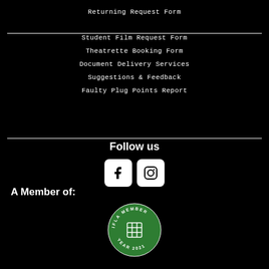Returning Request Form
Student Film Request Form
Theatrette Booking Form
Document Delivery Services
Suggestions & Feedback
Faulty Plug Points Report
Follow us
[Figure (logo): Facebook icon white F on white rounded square]
[Figure (logo): Instagram icon camera outline on white rounded square]
A Member of:
[Figure (logo): IFLA Member Year 2021 circular green badge with grid icon]